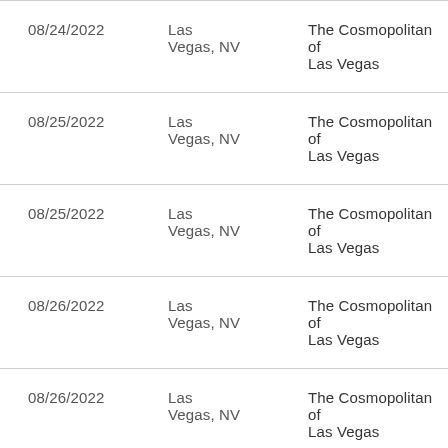| 08/24/2022 | Las Vegas, NV | The Cosmopolitan of Las Vegas |
| 08/25/2022 | Las Vegas, NV | The Cosmopolitan of Las Vegas |
| 08/25/2022 | Las Vegas, NV | The Cosmopolitan of Las Vegas |
| 08/26/2022 | Las Vegas, NV | The Cosmopolitan of Las Vegas |
| 08/26/2022 | Las Vegas, NV | The Cosmopolitan of Las Vegas |